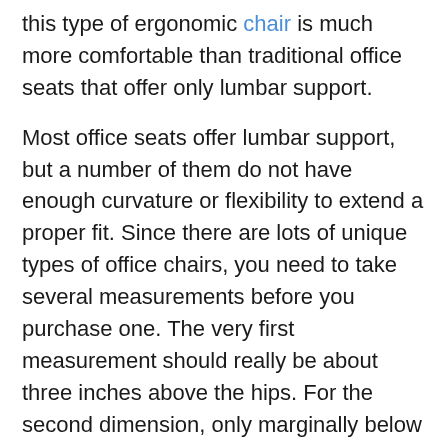this type of ergonomic chair is much more comfortable than traditional office seats that offer only lumbar support.
Most office seats offer lumbar support, but a number of them do not have enough curvature or flexibility to extend a proper fit. Since there are lots of unique types of office chairs, you need to take several measurements before you purchase one. The very first measurement should really be about three inches above the hips. For the second dimension, only marginally below the hips is best, and for the next, put your palms underneath the back at a much better view.
Many office chairs are available in ergonomic shapes like l shaped, U shaped, rectangular...